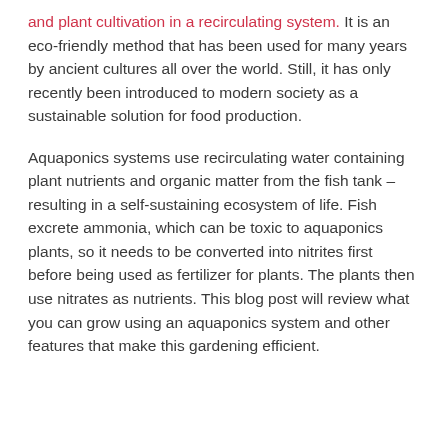and plant cultivation in a recirculating system. It is an eco-friendly method that has been used for many years by ancient cultures all over the world. Still, it has only recently been introduced to modern society as a sustainable solution for food production.
Aquaponics systems use recirculating water containing plant nutrients and organic matter from the fish tank – resulting in a self-sustaining ecosystem of life. Fish excrete ammonia, which can be toxic to aquaponics plants, so it needs to be converted into nitrites first before being used as fertilizer for plants. The plants then use nitrates as nutrients. This blog post will review what you can grow using an aquaponics system and other features that make this gardening efficient.